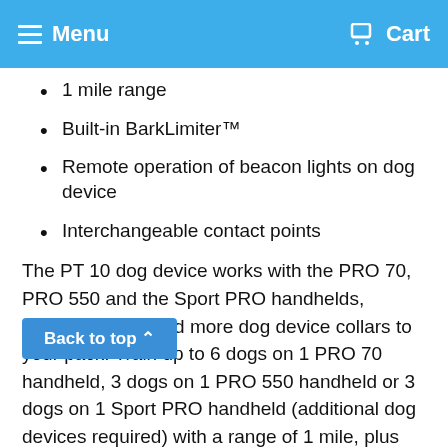Menu  Cart
1 mile range
Built-in BarkLimiter™
Remote operation of beacon lights on dog device
Interchangeable contact points
The PT 10 dog device works with the PRO 70, PRO 550 and the Sport PRO handhelds, allowing you to add more dog device collars to your pack. Train up to 6 dogs on 1 PRO 70 handheld, 3 dogs on 1 PRO 550 handheld or 3 dogs on 1 Sport PRO handheld (additional dog devices required) with a range of 1 mile, plus remote-[Back to top] beacon lights for low light conditions and built in BarkLimiter, activated on the dog device, for a quieter
Back to top ∧